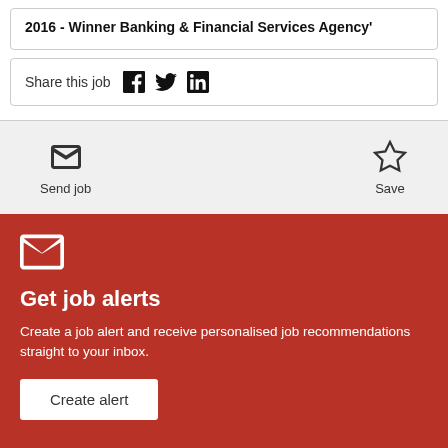2016 - Winner Banking & Financial Services Agency'
Share this job
Send job
Save
Get job alerts
Create a job alert and receive personalised job recommendations straight to your inbox.
Create alert